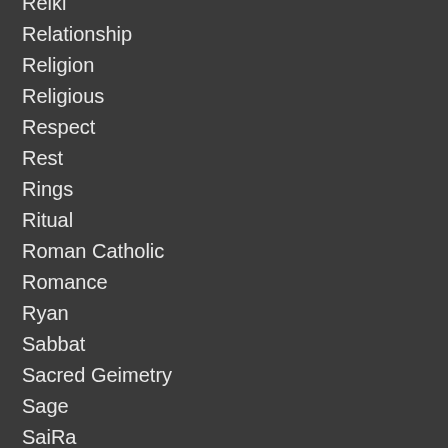Reiki
Relationship
Religion
Religious
Respect
Rest
Rings
Ritual
Roman Catholic
Romance
Ryan
Sabbat
Sacred Geimetry
Sage
SaiRa
Santa
Satan
Saule
Saules Meita
Scythe